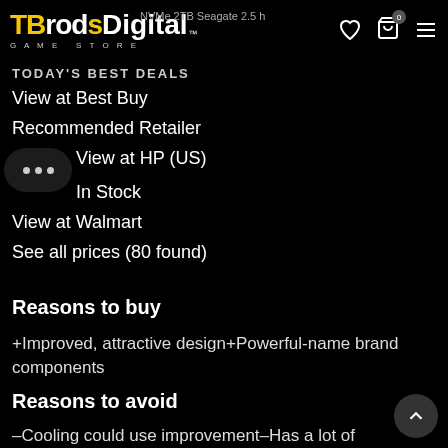TBrdsDigital GAME STORE
NVMe 2TB Seagate 2.5 h
TODAY'S BEST DEALS
View at Best Buy
Recommended Retailer
View at HP (US)
In Stock
View at Walmart
See all prices (80 found)
Reasons to buy
+Improved, attractive design+Powerful-name brand components
Reasons to avoid
–Cooling could use improvement–Has a lot of bloatware